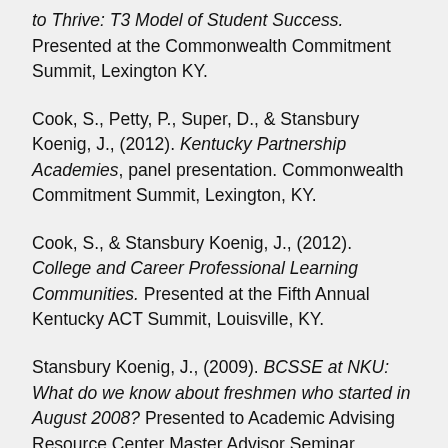to Thrive: T3 Model of Student Success. Presented at the Commonwealth Commitment Summit, Lexington KY.
Cook, S., Petty, P., Super, D., & Stansbury Koenig, J., (2012). Kentucky Partnership Academies, panel presentation. Commonwealth Commitment Summit, Lexington, KY.
Cook, S., & Stansbury Koenig, J., (2012). College and Career Professional Learning Communities. Presented at the Fifth Annual Kentucky ACT Summit, Louisville, KY.
Stansbury Koenig, J., (2009). BCSSE at NKU: What do we know about freshmen who started in August 2008? Presented to Academic Advising Resource Center Master Advisor Seminar, Northern Kentucky University.